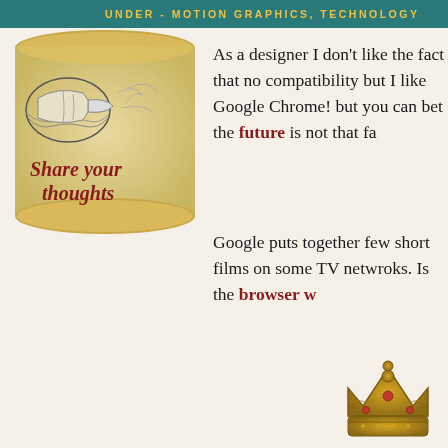UNDER - MOTION GRAPHICS, TECHNOLOGY
[Figure (illustration): Decorative scroll/parchment with pointing hand illustration and italic text 'Share your thoughts' in dark red]
As a designer I don't like the fact that no compatibility but I like Google Chrome! but you can bet the future is not that far
Google puts together few short films on some TV netwroks. Is the browser w